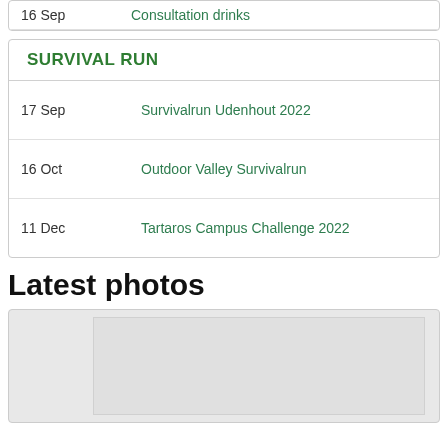| Date | Event |
| --- | --- |
| 16 Sep | Consultation drinks |
| Date | Event |
| --- | --- |
| 17 Sep | Survivalrun Udenhout 2022 |
| 16 Oct | Outdoor Valley Survivalrun |
| 11 Dec | Tartaros Campus Challenge 2022 |
Latest photos
[Figure (photo): Photo placeholder image in Latest photos section]